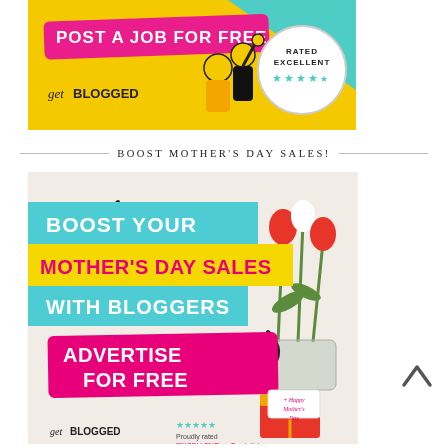[Figure (illustration): GetBlogged ad banner: yellow background with 'POST A JOB FOR FREE' text on pink brush stroke, illustrated figures of two people, 'getBLOGGED' logo, and 'RATED EXCELLENT' with stars in a circle badge.]
BOOST MOTHER'S DAY SALES!
[Figure (illustration): GetBlogged promotional banner: 'BOOST YOUR MOTHER'S DAY SALES WITH BLOGGERS' on cyan/yellow background with arrow graphics, 'ADVERTISE FOR FREE' on pink banner, tulips/flowers photo on right, gift with 'Happy Mother's Day' tag bottom right, 'getBLOGGED' logo and Trustpilot 'EXCELLENT' rating at bottom.]